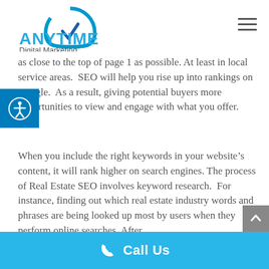ANYTIME Digital Marketing
as close to the top of page 1 as possible. At least in local service areas. SEO will help you rise up into rankings on Google. As a result, giving potential buyers more opportunities to view and engage with what you offer.
When you include the right keywords in your website’s content, it will rank higher on search engines. The process of Real Estate SEO involves keyword research. For instance, finding out which real estate industry words and phrases are being looked up most by users when they perform online searches. After
Call Us